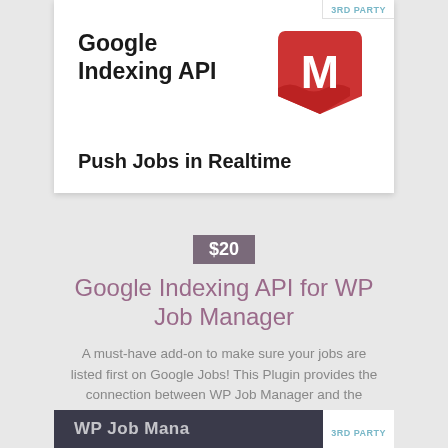[Figure (screenshot): Plugin card for Google Indexing API with a red M logo on white background. Shows '3RD PARTY' badge in top right corner. Title reads 'Google Indexing API' with subtitle 'Push Jobs in Realtime'.]
$20
Google Indexing API for WP Job Manager
A must-have add-on to make sure your jobs are listed first on Google Jobs! This Plugin provides the connection between WP Job Manager and the Google Indexing API.
[Figure (screenshot): Partial bottom card showing 'WP Job Mana...' text on dark background with '3RD PARTY' badge.]